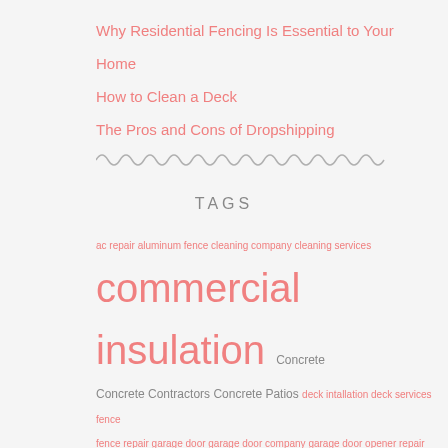Why Residential Fencing Is Essential to Your Home
How to Clean a Deck
The Pros and Cons of Dropshipping
TAGS
ac repair aluminum fence cleaning company cleaning services commercial insulation Concrete Concrete Contractors Concrete Patios deck intallation deck services fence fence repair garage door garage door company garage door opener repair garage door repair hair salon heat and air heating air heating and cooling hvac repair hvac services industrial cleaning service insulation insulation contractors insulation services marketing